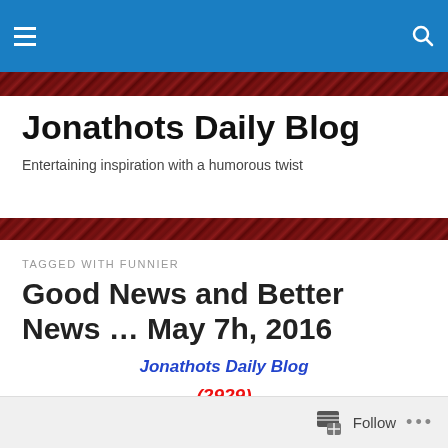Jonathots Daily Blog — site header navigation bar
Jonathots Daily Blog
Entertaining inspiration with a humorous twist
TAGGED WITH FUNNIER
Good News and Better News … May 7h, 2016
Jonathots Daily Blog
(2929)
Follow